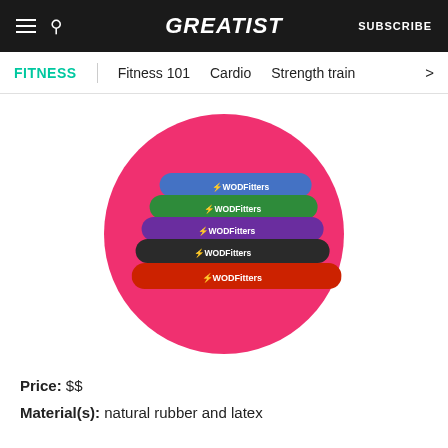GREATIST | SUBSCRIBE
FITNESS | Fitness 101 | Cardio | Strength train >
[Figure (photo): Stack of WODFitters resistance bands in blue, green, purple, black, and red colors displayed on a pink circular background]
Price: $$
Material(s): natural rubber and latex